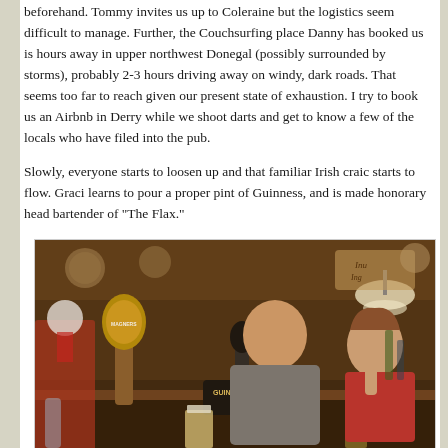beforehand. Tommy invites us up to Coleraine but the logistics seem difficult to manage. Further, the Couchsurfing place Danny has booked us is hours away in upper northwest Donegal (possibly surrounded by storms), probably 2-3 hours driving away on windy, dark roads. That seems too far to reach given our present state of exhaustion. I try to book us an Airbnb in Derry while we shoot darts and get to know a few of the locals who have filed into the pub.
Slowly, everyone starts to loosen up and that familiar Irish craic starts to flow. Graci learns to pour a proper pint of Guinness, and is made honorary head bartender of "The Flax."
[Figure (photo): Photo of two people standing behind a pub bar. A man and a woman are visible with Guinness and Magners tap handles in the foreground. The interior appears to be a traditional Irish pub with warm lighting and various decorations on the walls and ceiling.]